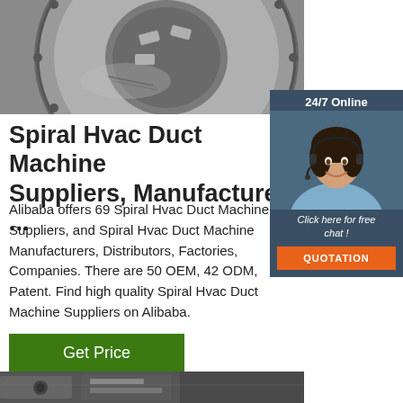[Figure (photo): Close-up photo of a metal industrial spiral duct machine component — circular with bolted ring and blade/chuck elements, gray metallic surface]
[Figure (photo): Chat widget showing a smiling woman with headset, 24/7 Online support, Click here for free chat, QUOTATION button]
Spiral Hvac Duct Machine Suppliers, Manufacturer ...
Alibaba offers 69 Spiral Hvac Duct Machine Suppliers, and Spiral Hvac Duct Machine Manufacturers, Distributors, Factories, Companies. There are 50 OEM, 42 ODM, Patent. Find high quality Spiral Hvac Duct Machine Suppliers on Alibaba.
[Figure (other): Green Get Price button]
[Figure (photo): Bottom strip photo of industrial machinery]